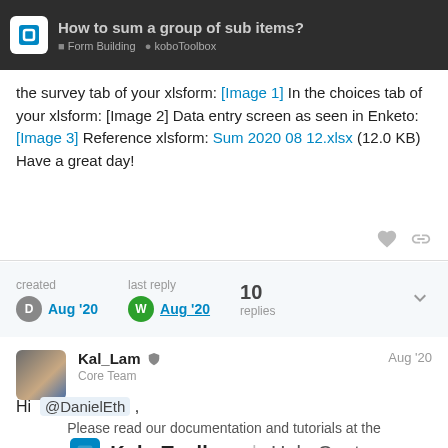How to sum a group of sub items?
the survey tab of your xlsform: [Image 1] In the choices tab of your xlsform: [Image 2] Data entry screen as seen in Enketo: [Image 3] Reference xlsform: Sum 2020 08 12.xlsx (12.0 KB) Have a great day!
created Aug '20  last reply Aug '20  10 replies
Kal_Lam Core Team  Aug '20
Hi @DanielEth ,
Please read our documentation and tutorials at the KoboToolbox | Help Center